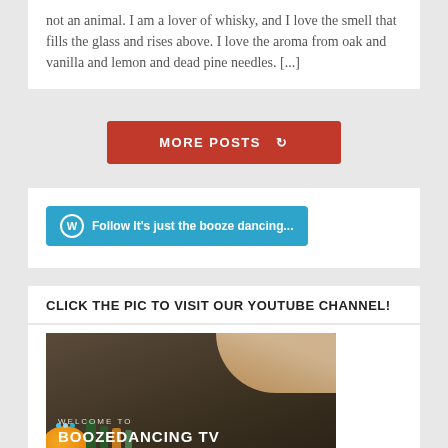not an animal. I am a lover of whisky, and I love the smell that fills the glass and rises above. I love the aroma from oak and vanilla and lemon and dead pine needles. [...]
[Figure (screenshot): Red 'MORE POSTS' button with refresh icon]
[Figure (screenshot): WordPress 'Follow It's just the booze dancing...' follow button in blue]
CLICK THE PIC TO VISIT OUR YOUTUBE CHANNEL!
[Figure (screenshot): YouTube channel thumbnail showing 'WELCOME TO BOOZEDANCING TV' with cocktail ingredients on a bar counter]